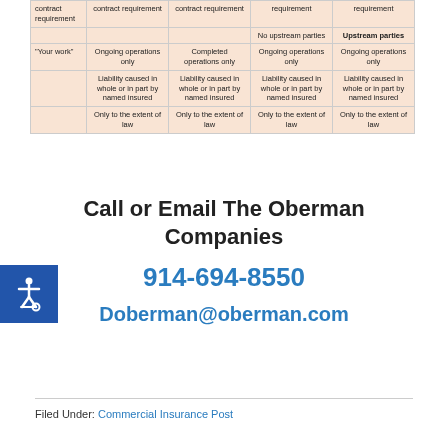|  | contract requirement | contract requirement | requirement | requirement |
| --- | --- | --- | --- | --- |
|  |  |  | No upstream parties | Upstream parties |
| "Your work" | Ongoing operations only | Completed operations only | Ongoing operations only | Ongoing operations only |
|  | Liability caused in whole or in part by named insured | Liability caused in whole or in part by named insured | Liability caused in whole or in part by named insured | Liability caused in whole or in part by named insured |
|  | Only to the extent of law | Only to the extent of law | Only to the extent of law | Only to the extent of law |
Call or Email The Oberman Companies
914-694-8550
Doberman@oberman.com
Filed Under: Commercial Insurance Post